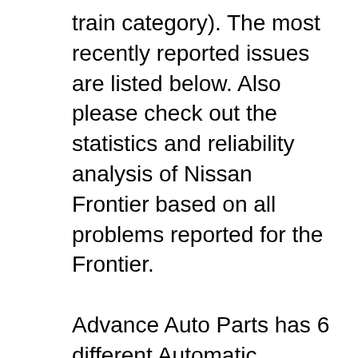train category). The most recently reported issues are listed below. Also please check out the statistics and reliability analysis of Nissan Frontier based on all problems reported for the Frontier.
Advance Auto Parts has 6 different Automatic Transmission Fluid for your vehicle, ready for shipping or in-store pick up. The best part is, our Nissan Frontier Automatic Transmission Fluid products start from as little as $5.99. When it comes to your Nissan Frontier, you want parts and products from only trusted brands. Here at Advance Auto Save up to $7,385 on one of 6,228 used 2000 Nissan Frontiers near you. Find